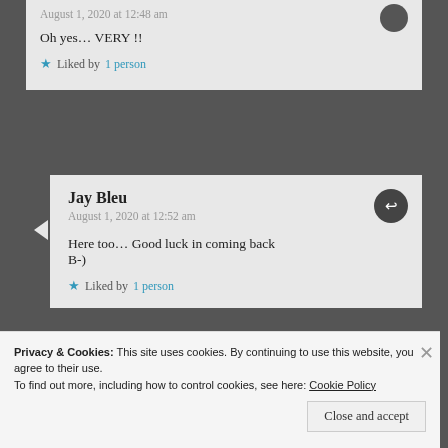August 1, 2020 at 12:48 am
Oh yes… VERY !!
Liked by 1 person
Jay Bleu
August 1, 2020 at 12:52 am
Here too… Good luck in coming back B-)
Liked by 1 person
Privacy & Cookies: This site uses cookies. By continuing to use this website, you agree to their use.
To find out more, including how to control cookies, see here: Cookie Policy
Close and accept